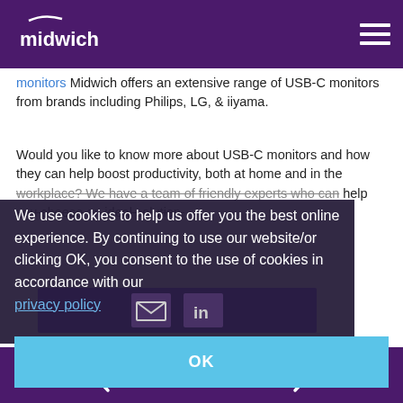midwich [logo] [hamburger menu]
monitors Midwich offers an extensive range of USB-C monitors from brands including Philips, LG, & iiyama.
Would you like to know more about USB-C monitors and how they can help boost productivity, both at home and in the workplace? We have a team of friendly experts who can help you choose an ideal solution.
We use cookies to help us offer you the best online experience. By continuing to use our website/or clicking OK, you consent to the use of cookies in accordance with our privacy policy
OK